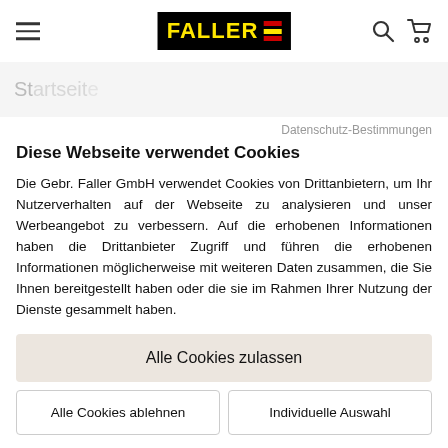[Figure (logo): Faller logo: black box with yellow FALLER text and red/yellow/red horizontal stripes, hamburger menu icon on left, search and cart icons on right]
Datenschutz-Bestimmungen
Diese Webseite verwendet Cookies
Die Gebr. Faller GmbH verwendet Cookies von Drittanbietern, um Ihr Nutzerverhalten auf der Webseite zu analysieren und unser Werbeangebot zu verbessern. Auf die erhobenen Informationen haben die Drittanbieter Zugriff und führen die erhobenen Informationen möglicherweise mit weiteren Daten zusammen, die Sie Ihnen bereitgestellt haben oder die sie im Rahmen Ihrer Nutzung der Dienste gesammelt haben.
Alle Cookies zulassen
Alle Cookies ablehnen
Individuelle Auswahl